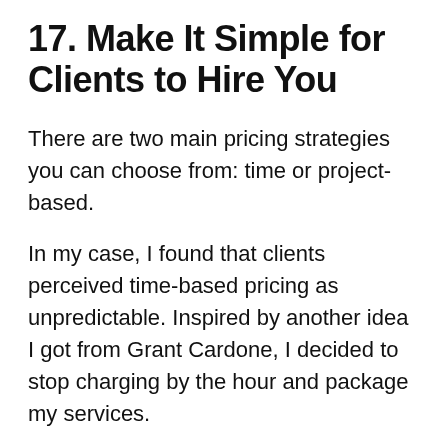17. Make It Simple for Clients to Hire You
There are two main pricing strategies you can choose from: time or project-based.
In my case, I found that clients perceived time-based pricing as unpredictable. Inspired by another idea I got from Grant Cardone, I decided to stop charging by the hour and package my services.
I also put my tiered pricing knowledge